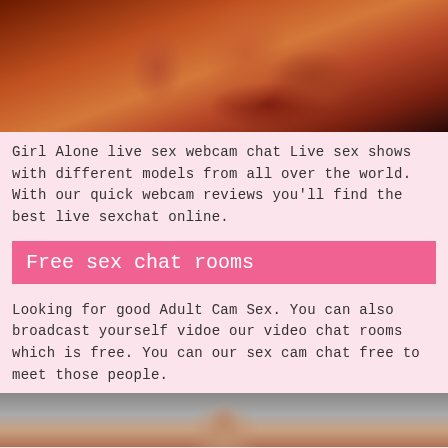[Figure (photo): Close-up photo of a woman with auburn/red wavy hair against a dark background]
Girl Alone live sex webcam chat Live sex shows with different models from all over the world. With our quick webcam reviews you'll find the best live sexchat online.
Free sex chat rooms
Looking for good Adult Cam Sex. You can also broadcast yourself vidoe our video chat rooms which is free. You can our sex cam chat free to meet those people.
[Figure (photo): Partial photo of a woman with auburn/red curly hair, cropped at bottom of page]